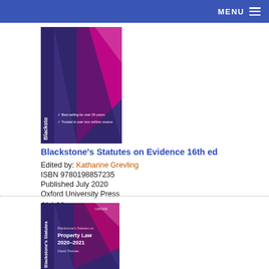MENU
[Figure (illustration): Book cover: Blackstone's Statutes on Evidence 16th ed — purple background with pink angular geometric design and white text]
Blackstone's Statutes on Evidence 16th ed
Edited by: Katharine Grevling
ISBN 9780198857235
Published July 2020
Oxford University Press
£14.99
Buy
[Figure (illustration): Book cover: Blackstone's Statutes on Property Law 2020–2021 — purple background with pink/mauve angular geometric design and white text]